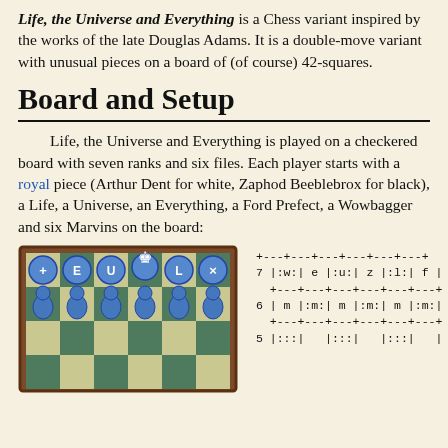Life, the Universe and Everything is a Chess variant inspired by the works of the late Douglas Adams. It is a double-move variant with unusual pieces on a board of (of course) 42-squares.
Board and Setup
Life, the Universe and Everything is played on a checkered board with seven ranks and six files. Each player starts with a royal piece (Arthur Dent for white, Zaphod Beeblebrox for black), a Life, a Universe, an Everything, a Ford Prefect, a Wowbagger and six Marvins on the board:
[Figure (illustration): Chess board (6 files x 7 ranks partial view) showing blue pieces on ranks 7 and 6: circles labeled +, E, U, king, L, x on rank 7; six Marvin pawns on rank 6]
+---+---+---+---+---+---+
7 |:w:| e |:u:| z |:l:| f |
  +---+---+---+---+---+---+
6 | m |:m:| m |:m:| m |:m:|
  +---+---+---+---+---+---+
5 |:::|   |:::|   |:::|   |